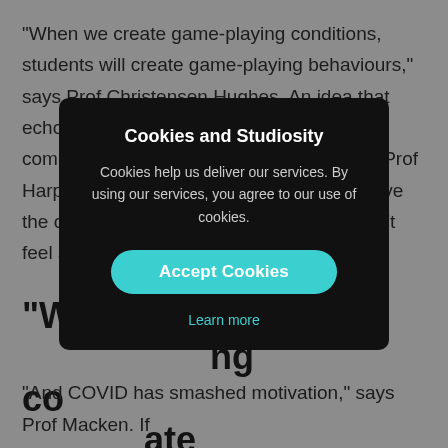“When we create game-playing conditions, students will create game-playing behaviours,” says Prof Christensen Hughes. An idea that echoes the 2018 Australian-government commissioned findings by Prof Bretag and Prof Harper: students will cheat when they believe the opportunity is there, and when they don’t feel supported to learn.
“W…ng co…ate
[Figure (screenshot): Cookie consent modal dialog with dark background. Title: 'Cookies and Studiosity'. Body text: 'Cookies help us deliver our services. By using our services, you agree to our use of cookies.' A teal 'Accept Cookies' button and a 'Learn more' link.]
“And COVID has smashed motivation,” says Prof Macken. If